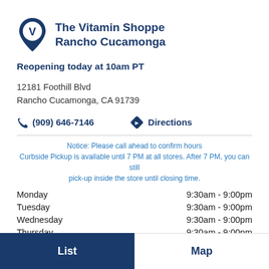The Vitamin Shoppe Rancho Cucamonga
Reopening today at 10am PT
12181 Foothill Blvd
Rancho Cucamonga, CA 91739
(909) 646-7146
Directions
Notice: Please call ahead to confirm hours
Curbside Pickup is available until 7 PM at all stores. After 7 PM, you can still pick-up inside the store until closing time.
| Day | Hours |
| --- | --- |
| Monday | 9:30am - 9:00pm |
| Tuesday | 9:30am - 9:00pm |
| Wednesday | 9:30am - 9:00pm |
| Thursday | 9:30am - 9:00pm |
| Friday | 9:30am - 9:00pm |
List
Map